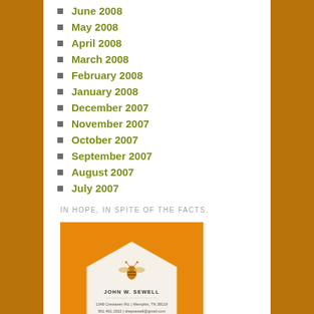June 2008
May 2008
April 2008
March 2008
February 2008
January 2008
December 2007
November 2007
October 2007
September 2007
August 2007
July 2007
IN HOPE, IN SPITE OF THE FACTS.
[Figure (photo): Business card for John W. Sewell with hexagon shape, bee logo, address 1348 Crestaven Rd., Memphis, TN 38119, phone 901.491.1922, shepsewell@gmail.com, Act2Memphis.org]